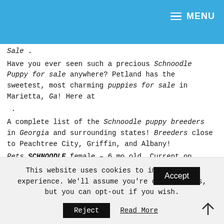MENU
Sale .
Have you ever seen such a precious Schnoodle Puppy for sale anywhere? Petland has the sweetest, most charming puppies for sale in Marietta, Ga! Here at
 .
A complete list of the Schnoodle puppy breeders in Georgia and surrounding states! Breeders close to Peachtree City, Griffin, and Albany!
Pets SCHNOODLE female – 6 mo old. Current on shots and worming. Very sweet dog. Located about an hour south of Atlanta on North side of Macon. Breeder .
This website uses cookies to improve your experience. We'll assume you're ok with this, but you can opt-out if you wish.